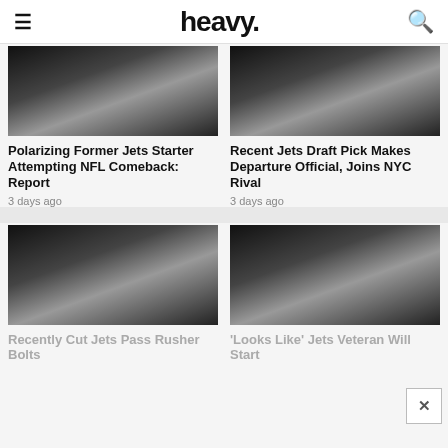heavy.
[Figure (photo): Dark gradient placeholder image for article 1]
Polarizing Former Jets Starter Attempting NFL Comeback: Report
3 days ago
[Figure (photo): Dark gradient placeholder image for article 2]
Recent Jets Draft Pick Makes Departure Official, Joins NYC Rival
3 days ago
[Figure (photo): Dark gradient placeholder image for article 3]
Recently Cut Jets Pass Rusher Bolts
[Figure (photo): Dark gradient placeholder image for article 4]
'Looks Like' Jets Veteran Will Start